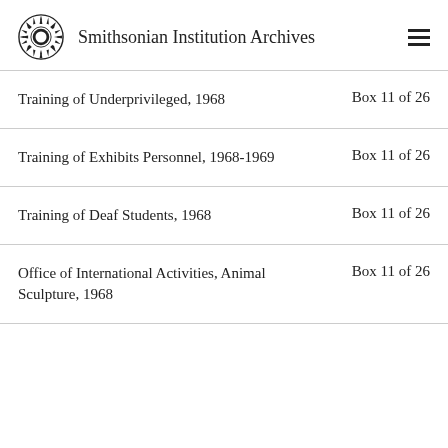Smithsonian Institution Archives
Training of Underprivileged, 1968 — Box 11 of 26
Training of Exhibits Personnel, 1968-1969 — Box 11 of 26
Training of Deaf Students, 1968 — Box 11 of 26
Office of International Activities, Animal Sculpture, 1968 — Box 11 of 26